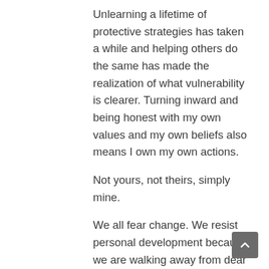Unlearning a lifetime of protective strategies has taken a while and helping others do the same has made the realization of what vulnerability is clearer. Turning inward and being honest with my own values and my own beliefs also means I own my own actions.
Not yours, not theirs, simply mine.
We all fear change. We resist personal development because we are walking away from dear old friends, both physically and emotionally, and that means, for a while, we are alone.